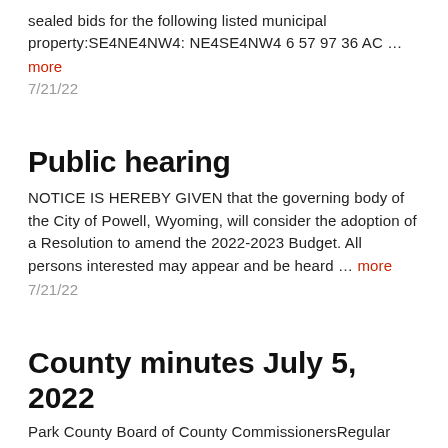sealed bids for the following listed municipal property:SE4NE4NW4: NE4SE4NW4 6 57 97 36 AC …
more
7/21/22
Public hearing
NOTICE IS HEREBY GIVEN that the governing body of the City of Powell, Wyoming, will consider the adoption of a Resolution to amend the 2022-2023 Budget. All persons interested may appear and be heard … more
7/21/22
County minutes July 5, 2022
Park County Board of County CommissionersRegular